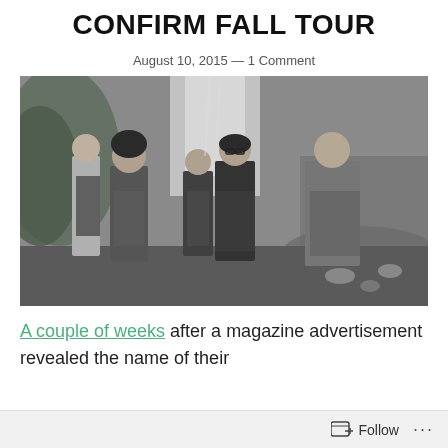CONFIRM FALL TOUR
August 10, 2015 — 1 Comment
[Figure (photo): Black and white photo of five band members standing outdoors near a waterfall and rocky stream. They are posed in a group, some wearing plaid shirts and casual clothing.]
A couple of weeks after a magazine advertisement revealed the name of their
Follow ...